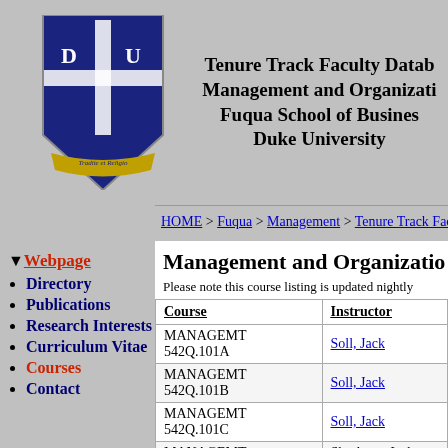Tenure Track Faculty Database
Management and Organization
Fuqua School of Business
Duke University
HOME > Fuqua > Management > Tenure Track Faculty
Webpage
Directory
Publications
Research Interests
Curriculum Vitae
Courses
Contact
Management and Organization
Please note this course listing is updated nightly
| Course | Instructor |
| --- | --- |
| MANAGEMT 542Q.101A | Soll, Jack |
| MANAGEMT 542Q.101B | Soll, Jack |
| MANAGEMT 542Q.101C | Soll, Jack |
| MANAGEMT 545Q.201A | Skorburg, Joshua A |
| MANAGEMT 545Q.201B | Skorburg, Joshua A |
| MANAGEMT 545Q.201C | Skorburg, Joshua A |
| MANAGEMT 749.201 | Stanley, Matthew |
| MANAGEMT 544F.201A | Kakkar, Hemant |
| MANAGEMT 544F.201B | Kakkar, Hemant |
| MANAGEMT 544F.201C | Kakkar, Hemant |